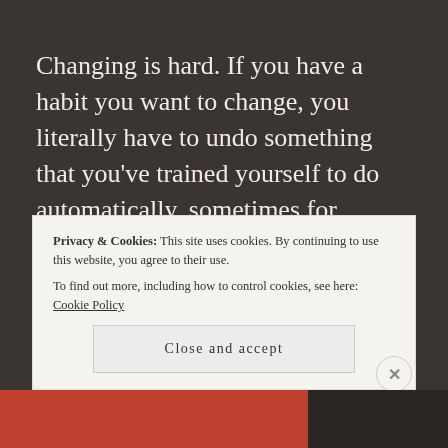Changing is hard. If you have a habit you want to change, you literally have to undo something that you've trained yourself to do automatically, sometimes for years...
[Figure (other): Blue rounded pill-shaped button with text READ MORE and a right arrow]
Privacy & Cookies: This site uses cookies. By continuing to use this website, you agree to their use.
To find out more, including how to control cookies, see here: Cookie Policy
Close and accept